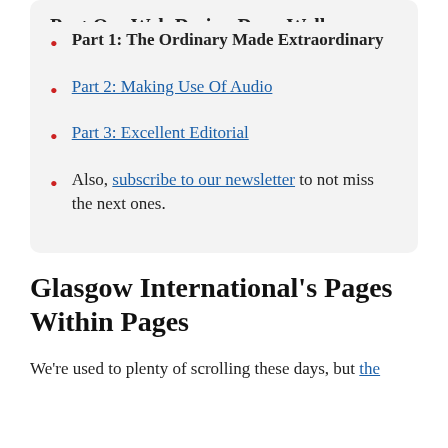Part 1: The Ordinary Made Extraordinary
Part 2: Making Use Of Audio
Part 3: Excellent Editorial
Also, subscribe to our newsletter to not miss the next ones.
Glasgow International's Pages Within Pages
We're used to plenty of scrolling these days, but the